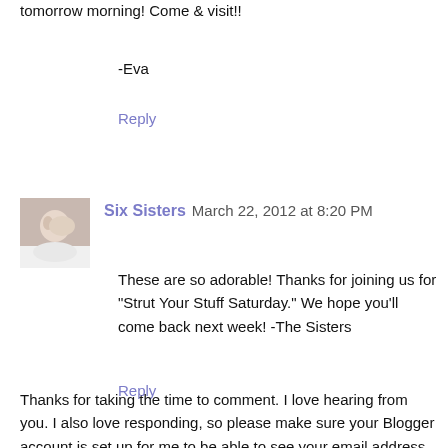tomorrow morning! Come & visit!!
-Eva
Reply
Six Sisters  March 22, 2012 at 8:20 PM
These are so adorable! Thanks for joining us for "Strut Your Stuff Saturday." We hope you'll come back next week! -The Sisters
Reply
Thanks for taking the time to comment. I love hearing from you. I also love responding, so please make sure your Blogger account is set up for me to be able to see your email address or